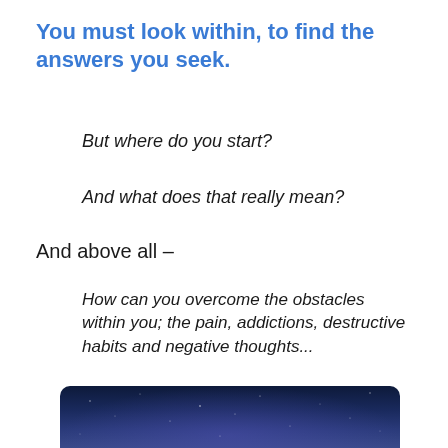You must look within, to find the answers you seek.
But where do you start?
And what does that really mean?
And above all –
How can you overcome the obstacles within you; the pain, addictions, destructive habits and negative thoughts...
That have gotten in your way before?
[Figure (photo): Dark night sky / space background with nebula-like purple glow and stars, partially visible at bottom of page]